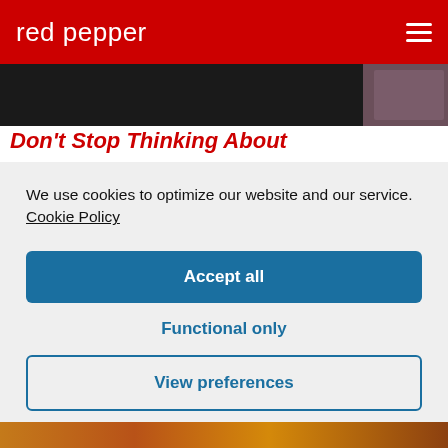red pepper
[Figure (photo): Partially visible dark background photo with a person's face visible at the right edge]
Don't Stop Thinking About
We use cookies to optimize our website and our service. Cookie Policy
Accept all
Functional only
View preferences
[Figure (photo): Partially visible colorful image at the bottom of the page]